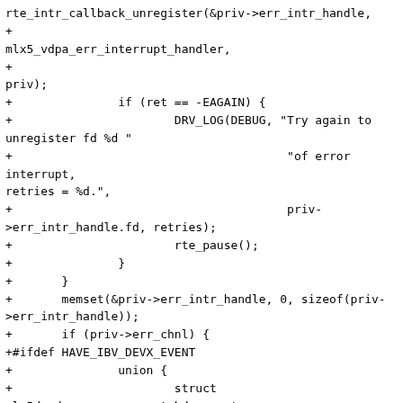rte_intr_callback_unregister(&priv->err_intr_handle,
+
mlx5_vdpa_err_interrupt_handler,
+                                                  priv);
+               if (ret == -EAGAIN) {
+                       DRV_LOG(DEBUG, "Try again to unregister fd %d "
+                                       "of error interrupt, retries = %d.",
+                                       priv->err_intr_handle.fd, retries);
+                       rte_pause();
+               }
+       }
+       memset(&priv->err_intr_handle, 0, sizeof(priv->err_intr_handle));
+       if (priv->err_chnl) {
+#ifdef HAVE_IBV_DEVX_EVENT
+               union {
+                       struct mlx5dv_devx_async_event_hdr event_resp;
+                       uint8_t buf[sizeof(struct mlx5dv_devx_async_event_hdr) +
+                                       128];
+               } out;
+
+               /* Clean all pending events. */
+               while (mlx5_glue->devx_get_event(priv->err_chnl,
+                               &out.event_resp,